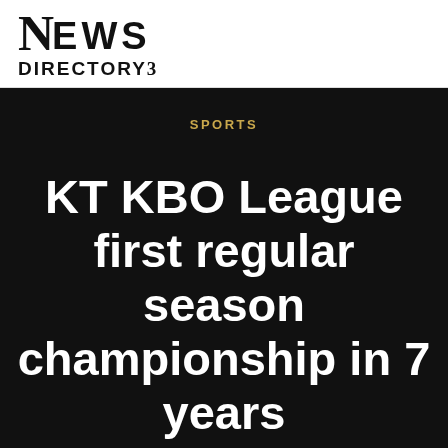NEWS DIRECTORY3
SPORTS
KT KBO League first regular season championship in 7 years